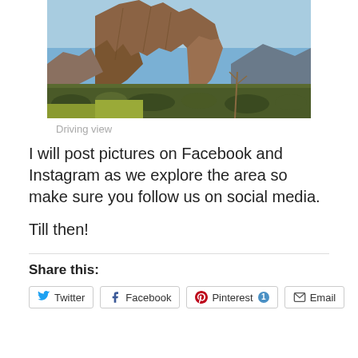[Figure (photo): Landscape photo of rocky desert mountains with blue sky and scrub vegetation in the foreground]
Driving view
I will post pictures on Facebook and Instagram as we explore the area so make sure you follow us on social media.
Till then!
Share this:
Twitter  Facebook  Pinterest 1  Email